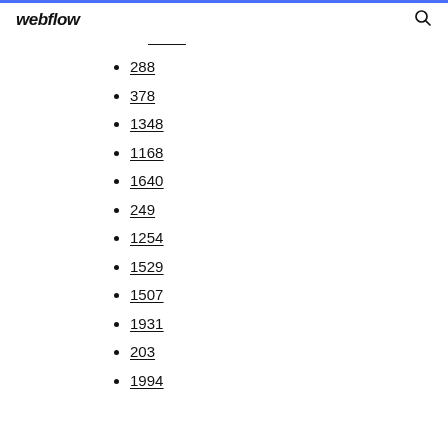webflow
288
378
1348
1168
1640
249
1254
1529
1507
1931
203
1994